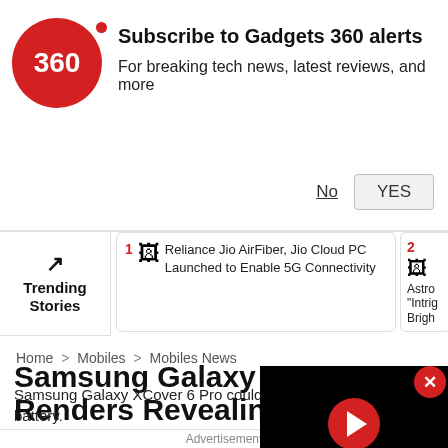[Figure (screenshot): Gadgets 360 notification subscription banner with red circular logo showing '360', bold text 'Subscribe to Gadgets 360 alerts', subtitle 'For breaking tech news, latest reviews, and more', and No/YES buttons]
Trending Stories
1 Reliance Jio AirFiber, Jio Cloud PC Launched to Enable 5G Connectivity
2 Astro... "Intrig... Brigh... Earth...
Home > Mobiles > Mobiles News
Samsung Galaxy XCo... Renders Revealing D... Surface Online Ahead...
Samsung Galaxy XCover 6 Pro could feature a removable battery.
Advertisement